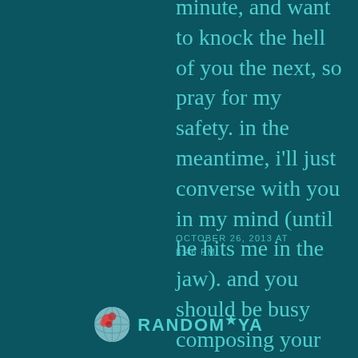minute, and want to knock the hell of you the next, so pray for my safety. in the meantime, i'll just converse with you in my mind (until he hits me in the jaw). and you should be busy composing your next beautiful poem. smile and peace...
OCTOBER 26, 2013 AT 8:46 PM
[Figure (logo): Randomlya logo with globe icon and star above M]